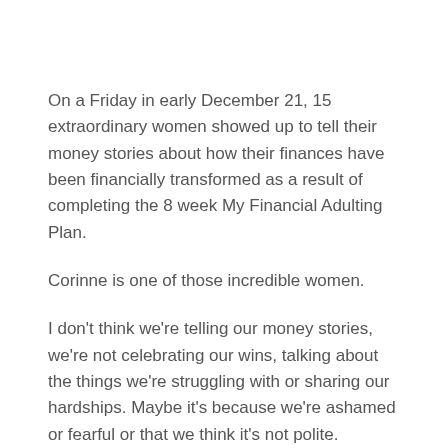On a Friday in early December 21, 15 extraordinary women showed up to tell their money stories about how their finances have been financially transformed as a result of completing the 8 week My Financial Adulting Plan.
Corinne is one of those incredible women.
I don't think we're telling our money stories, we're not celebrating our wins, talking about the things we're struggling with or sharing our hardships. Maybe it's because we're ashamed or fearful or that we think it's not polite.
Here, we want want to change that.